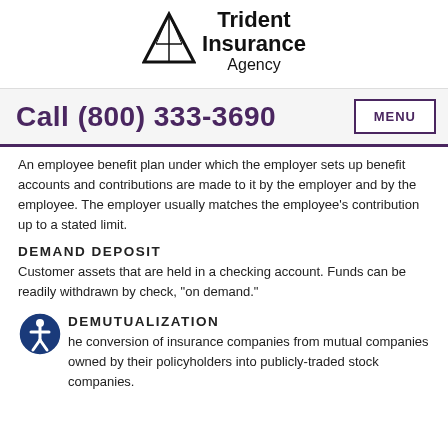[Figure (logo): Trident Insurance Agency logo with triangle graphic and text]
Call (800) 333-3690  MENU
An employee benefit plan under which the employer sets up benefit accounts and contributions are made to it by the employer and by the employee. The employer usually matches the employee's contribution up to a stated limit.
DEMAND DEPOSIT
Customer assets that are held in a checking account. Funds can be readily withdrawn by check, "on demand."
DEMUTUALIZATION
The conversion of insurance companies from mutual companies owned by their policyholders into publicly-traded stock companies.